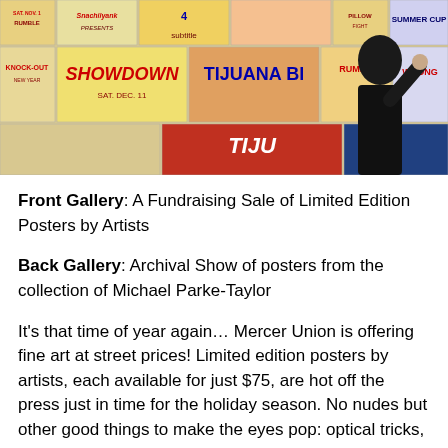[Figure (photo): A person in black clothing pointing at a wall covered with various colorful vintage-style posters including boxing and wrestling event posters with titles like SHOWDOWN, TIJUANA, KNOCK-OUT, RUMBA, SUMMER CUP, WRONG, and others.]
Front Gallery: A Fundraising Sale of Limited Edition Posters by Artists
Back Gallery: Archival Show of posters from the collection of Michael Parke-Taylor
It's that time of year again… Mercer Union is offering fine art at street prices! Limited edition posters by artists, each available for just $75, are hot off the press just in time for the holiday season. No nudes but other good things to make the eyes pop: optical tricks, word games, and slick design concepts. Like the best guerrilla advertising, these